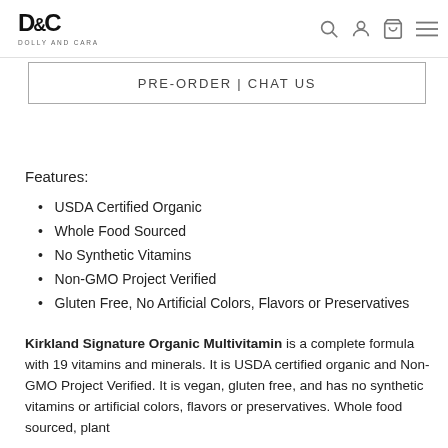D&C DOLLY AND CARA — navigation header with search, account, cart, and menu icons
PRE-ORDER | CHAT US
Features:
USDA Certified Organic
Whole Food Sourced
No Synthetic Vitamins
Non-GMO Project Verified
Gluten Free, No Artificial Colors, Flavors or Preservatives
Kirkland Signature Organic Multivitamin is a complete formula with 19 vitamins and minerals. It is USDA certified organic and Non-GMO Project Verified. It is vegan, gluten free, and has no synthetic vitamins or artificial colors, flavors or preservatives. Whole food sourced, plant...